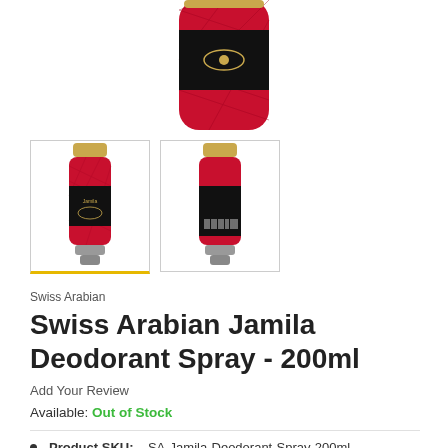[Figure (photo): Main product image of Swiss Arabian Jamila Deodorant Spray red and black can, top view cropped]
[Figure (photo): Thumbnail 1: front view of the red and black deodorant spray can with gold cap, selected (yellow bottom border)]
[Figure (photo): Thumbnail 2: back view of the red and black deodorant spray can]
Swiss Arabian
Swiss Arabian Jamila Deodorant Spray - 200ml
Add Your Review
Available: Out of Stock
Product SKU:    SA-Jamila-Deodorant-Spray-200ml